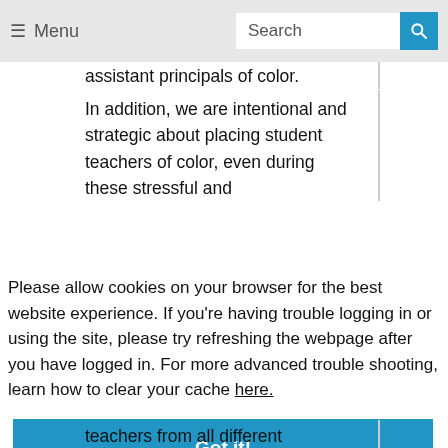Menu | Search
assistant principals of color.
In addition, we are intentional and strategic about placing student teachers of color, even during these stressful and
Please allow cookies on your browser for the best website experience. If you're having trouble logging in or using the site, please try refreshing the webpage after you have logged in. For more advanced trouble shooting, learn how to clear your cache here.
Got it!
teachers from all different